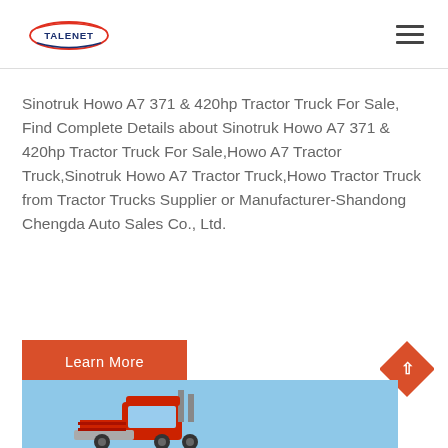TALENET [logo]
Sinotruk Howo A7 371 & 420hp Tractor Truck For Sale, Find Complete Details about Sinotruk Howo A7 371 & 420hp Tractor Truck For Sale,Howo A7 Tractor Truck,Sinotruk Howo A7 Tractor Truck,Howo Tractor Truck from Tractor Trucks Supplier or Manufacturer-Shandong Chengda Auto Sales Co., Ltd.
Learn More
[Figure (photo): Sinotruk Howo A7 tractor truck photo with blue sky background, bottom portion of page]